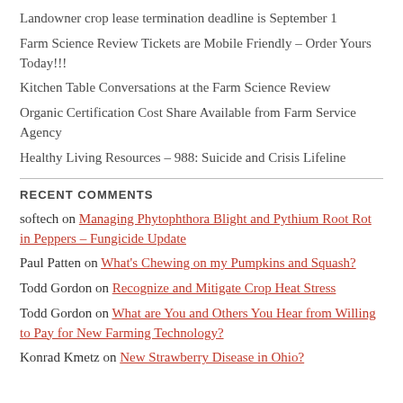Landowner crop lease termination deadline is September 1
Farm Science Review Tickets are Mobile Friendly – Order Yours Today!!!
Kitchen Table Conversations at the Farm Science Review
Organic Certification Cost Share Available from Farm Service Agency
Healthy Living Resources – 988: Suicide and Crisis Lifeline
RECENT COMMENTS
softech on Managing Phytophthora Blight and Pythium Root Rot in Peppers – Fungicide Update
Paul Patten on What's Chewing on my Pumpkins and Squash?
Todd Gordon on Recognize and Mitigate Crop Heat Stress
Todd Gordon on What are You and Others You Hear from Willing to Pay for New Farming Technology?
Konrad Kmetz on New Strawberry Disease in Ohio?